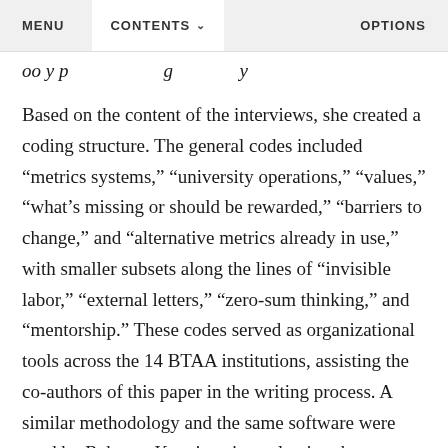MENU   CONTENTS   OPTIONS
oo y p g y
Based on the content of the interviews, she created a coding structure. The general codes included “metrics systems,” “university operations,” “values,” “what’s missing or should be rewarded,” “barriers to change,” and “alternative metrics already in use,” with smaller subsets along the lines of “invisible labor,” “external letters,” “zero-sum thinking,” and “mentorship.” These codes served as organizational tools across the 14 BTAA institutions, assisting the co-authors of this paper in the writing process. A similar methodology and the same software were used by Rebecca Kennison in evaluating the institutional…